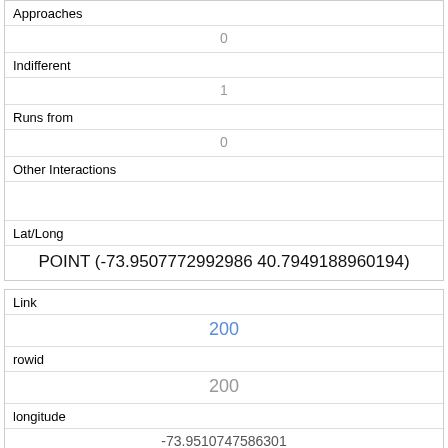| Approaches | 0 |
| Indifferent | 1 |
| Runs from | 0 |
| Other Interactions |  |
| Lat/Long | POINT (-73.9507772992986 40.7949188960194) |
| Link | 200 |
| rowid | 200 |
| longitude | -73.9510747586301 |
| latitude | 40.7973106833951 |
| Unique Squirrel ID | 42H-AM-1019-02 |